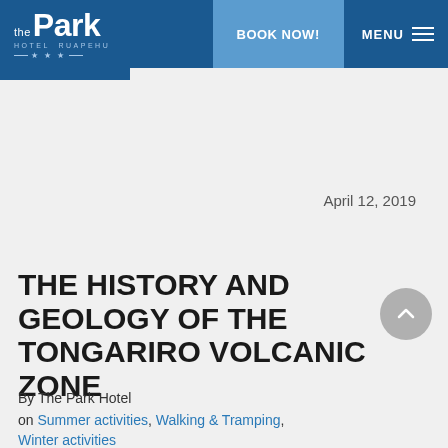the Park HOTEL RUAPEHU | BOOK NOW! | MENU
April 12, 2019
THE HISTORY AND GEOLOGY OF THE TONGARIRO VOLCANIC ZONE
By The Park Hotel
on Summer activities, Walking & Tramping, Winter activities